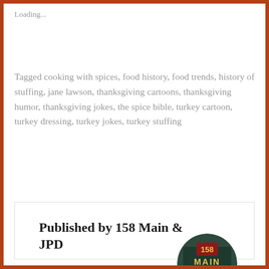Loading...
Tagged cooking with spices, food history, food trends, history of stuffing, jane lawson, thanksgiving cartoons, thanksgiving humor, thanksgiving jokes, the spice bible, turkey cartoon, turkey dressing, turkey jokes, turkey stuffing
Published by 158 Main & JPD
View all posts by 158 Main & JPD
[Figure (photo): Circular avatar photo of 158 Main Restaurant & Bakery sign]